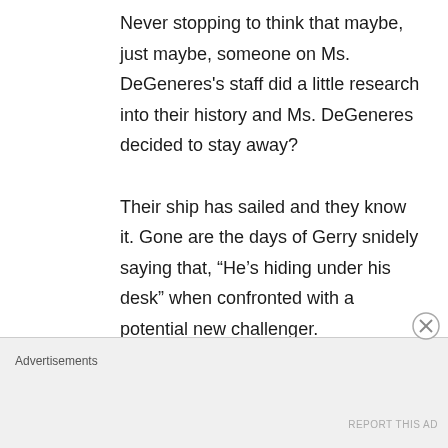Never stopping to think that maybe, just maybe, someone on Ms. DeGeneres's staff did a little research into their history and Ms. DeGeneres decided to stay away? Their ship has sailed and they know it. Gone are the days of Gerry snidely saying that, “He’s hiding under his desk” when confronted with a potential new challenger. If they get a new deal, it’ll be the last
Advertisements